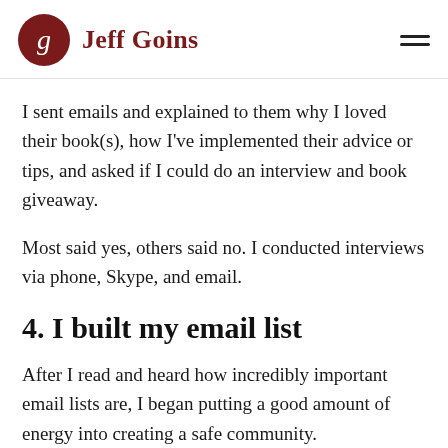Jeff Goins
I sent emails and explained to them why I loved their book(s), how I've implemented their advice or tips, and asked if I could do an interview and book giveaway.
Most said yes, others said no. I conducted interviews via phone, Skype, and email.
4. I built my email list
After I read and heard how incredibly important email lists are, I began putting a good amount of energy into creating a safe community.